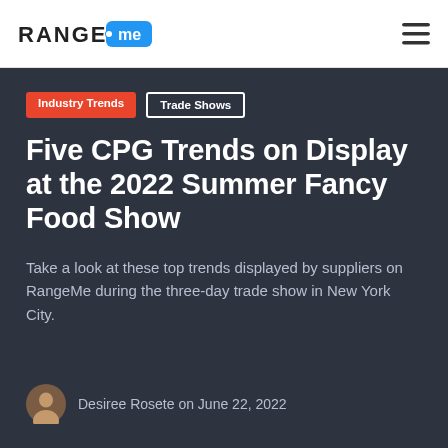RangeMe
Industry Trends
Trade Shows
Five CPG Trends on Display at the 2022 Summer Fancy Food Show
Take a look at these top trends displayed by suppliers on RangeMe during the three-day trade show in New York City.
Desiree Rosete on June 22, 2022